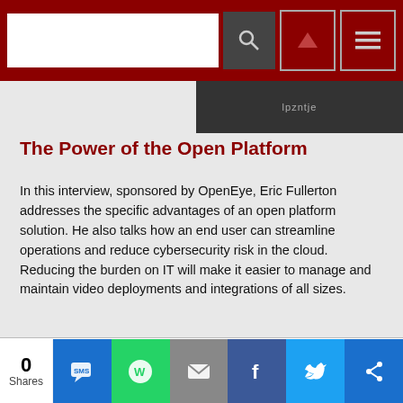Navigation bar with search, search button, up arrow button, and menu button
[Figure (screenshot): Dark image strip showing 'lpzntje' text overlay]
The Power of the Open Platform
In this interview, sponsored by OpenEye, Eric Fullerton addresses the specific advantages of an open platform solution. He also talks how an end user can streamline operations and reduce cybersecurity risk in the cloud. Reducing the burden on IT will make it easier to manage and maintain video deployments and integrations of all sizes.
DIGITAL EDITION
July / August 2022
Featuring:
• Place Your Bets
[Figure (photo): Security magazine cover for July/August 2022 showing a building]
0 Shares